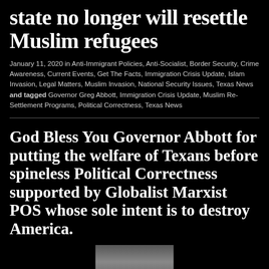state no longer will resettle Muslim refugees
January 11, 2020 in Anti-Immigrant Policies, Anti-Socialist, Border Security, Crime Awareness, Current Events, Get The Facts, Immigration Crisis Update, Islam Invasion, Legal Matters, Muslim Invasion, National Security Issues, Texas News and tagged Governor Greg Abbott, Immigration Crisis Update, Muslim Re-Settlement Programs, Political Correctness, Texas News
God Bless You Governor Abbott for putting the welfare of Texans before spineless Political Correctness supported by Globalist Marxist POS whose sole intent is to destroy America.
[Figure (photo): Partial photo of a person, cropped at bottom of page]